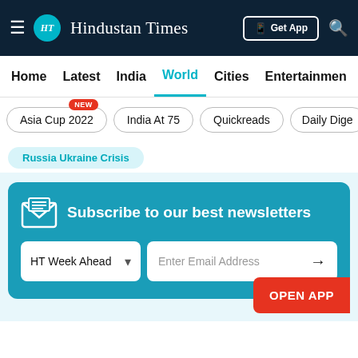Hindustan Times
Home | Latest | India | World | Cities | Entertainment
Asia Cup 2022 (NEW) | India At 75 | Quickreads | Daily Dige
Russia Ukraine Crisis
[Figure (screenshot): Newsletter subscription box with HT Week Ahead dropdown and Enter Email Address field, and OPEN APP button]
Subscribe to our best newsletters
HT Week Ahead | Enter Email Address → | OPEN APP